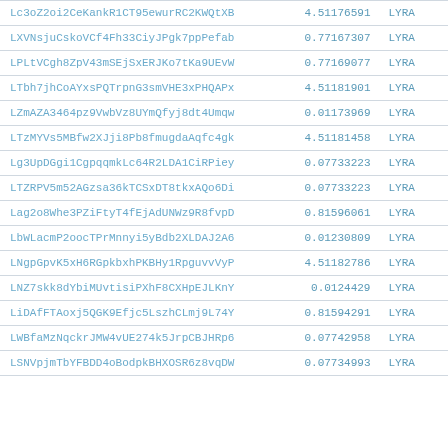| identifier | value | tag |
| --- | --- | --- |
| Lc3oZ2oi2CeKankR1CT95ewurRC2KWQtXB | 4.51176591 | LYRA |
| LXVNsjuCskoVCf4Fh33CiyJPgk7ppPefab | 0.77167307 | LYRA |
| LPLtVCgh8ZpV43mSEjSxERJKo7tKa9UEvW | 0.77169077 | LYRA |
| LTbh7jhCoAYxsPQTrpnG3smVHE3xPHQAPx | 4.51181901 | LYRA |
| LZmAZA3464pz9VwbVz8UYmQfyj8dt4Umqw | 0.01173969 | LYRA |
| LTzMYVs5MBfw2XJji8Pb8fmugdaAqfc4gk | 4.51181458 | LYRA |
| Lg3UpDGgi1CgpqqmkLc64R2LDA1CiRPiey | 0.07733223 | LYRA |
| LTZRPV5m52AGzsa36kTCSxDT8tkxAQo6Di | 0.07733223 | LYRA |
| Lag2o8Whe3PZiFtyT4fEjAdUNWz9R8fvpD | 0.81596061 | LYRA |
| LbWLacmP2oocTPrMnnyi5yBdb2XLDAJ2A6 | 0.01230809 | LYRA |
| LNgpGpvK5xH6RGpkbxhPKBHy1RpguvvVyP | 4.51182786 | LYRA |
| LNZ7skk8dYbiMUvtisiPXhF8CXHpEJLKnY | 0.0124429 | LYRA |
| LiDAfFTAoxj5QGK9Efjc5LszhCLmj9L74Y | 0.81594291 | LYRA |
| LWBfaMzNqckrJMW4vUE274k5JrpCBJHRp6 | 0.07742958 | LYRA |
| LSNVpjmTbYFBDD4oBodpkBHXOSR6z8vqDW | 0.07734993 | LYRA |